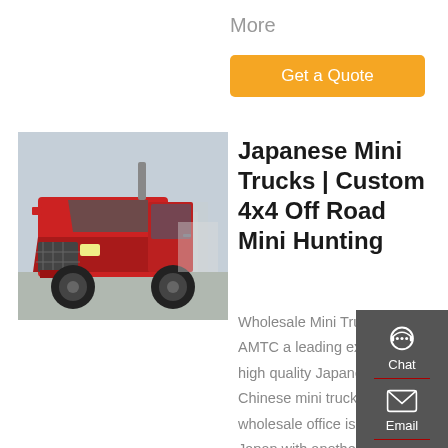More
Get a Quote
[Figure (photo): Red heavy-duty truck / semi-truck cab parked in a lot, front-left view, outdoors]
Japanese Mini Trucks | Custom 4x4 Off Road Mini Hunting
Wholesale Mini Trucks. AMTC a leading exporter of high quality Japanese & Chinese mini trucks. Our wholesale office is based in Japan with another office in the USA. We stock and sell mini truck brands including Daihatsu,
Chat
Email
Contact
Top